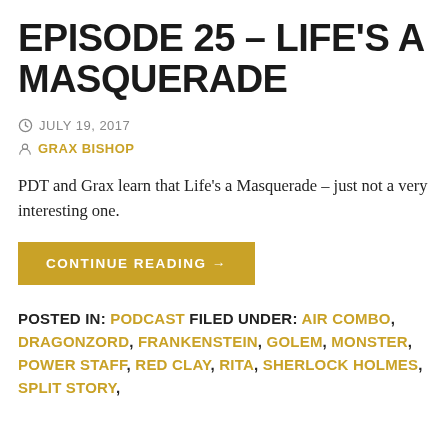EPISODE 25 – LIFE'S A MASQUERADE
JULY 19, 2017
GRAX BISHOP
PDT and Grax learn that Life's a Masquerade – just not a very interesting one.
CONTINUE READING →
POSTED IN: PODCAST FILED UNDER: AIR COMBO, DRAGONZORD, FRANKENSTEIN, GOLEM, MONSTER, POWER STAFF, RED CLAY, RITA, SHERLOCK HOLMES, SPLIT STORY,